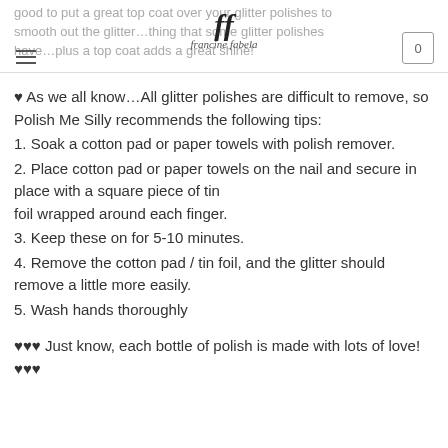good to put a great top coat over your glitter polishes to smooth out the glitter…thing that some glitter polishes have…plus a top coat adds a great shine!
♥ As we all know…All glitter polishes are difficult to remove, so Polish Me Silly recommends the following tips:
1. Soak a cotton pad or paper towels with polish remover.
2. Place cotton pad or paper towels on the nail and secure in place with a square piece of tin foil wrapped around each finger.
3. Keep these on for 5-10 minutes.
4. Remove the cotton pad / tin foil, and the glitter should remove a little more easily.
5. Wash hands thoroughly
♥♥♥ Just know, each bottle of polish is made with lots of love! ♥♥♥